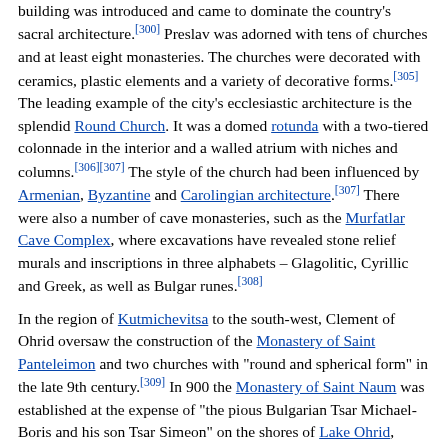building was introduced and came to dominate the country's sacral architecture.[300] Preslav was adorned with tens of churches and at least eight monasteries. The churches were decorated with ceramics, plastic elements and a variety of decorative forms.[305] The leading example of the city's ecclesiastic architecture is the splendid Round Church. It was a domed rotunda with a two-tiered colonnade in the interior and a walled atrium with niches and columns.[306][307] The style of the church had been influenced by Armenian, Byzantine and Carolingian architecture.[307] There were also a number of cave monasteries, such as the Murfatlar Cave Complex, where excavations have revealed stone relief murals and inscriptions in three alphabets – Glagolitic, Cyrillic and Greek, as well as Bulgar runes.[308]
In the region of Kutmichevitsa to the south-west, Clement of Ohrid oversaw the construction of the Monastery of Saint Panteleimon and two churches with "round and spherical form" in the late 9th century.[309] In 900 the Monastery of Saint Naum was established at the expense of "the pious Bulgarian Tsar Michael-Boris and his son Tsar Simeon" on the shores of Lake Ohrid, some 30 km to the south of the town, as a major literary centre.[302] Other important buildings were the Church of Saint Sophia in Ohrid, and the Basilica of Saint Achillius on an island in Lake Prespa, with dimensions of 32 × 52...